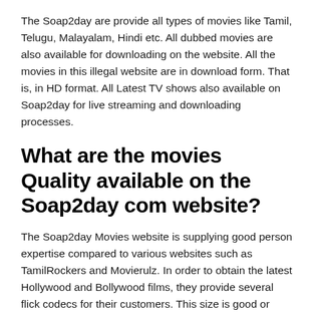The Soap2day are provide all types of movies like Tamil, Telugu, Malayalam, Hindi etc. All dubbed movies are also available for downloading on the website. All the movies in this illegal website are in download form. That is, in HD format. All Latest TV shows also available on Soap2day for live streaming and downloading processes.
What are the movies Quality available on the Soap2day com website?
The Soap2day Movies website is supplying good person expertise compared to various websites such as TamilRockers and Movierulz. In order to obtain the latest Hollywood and Bollywood films, they provide several flick codecs for their customers. This size is good or good enough to watch some movies on your cell or laptop. Soap2day provides good quality